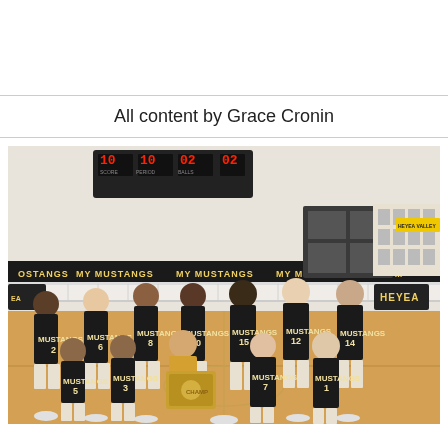All content by Grace Cronin
[Figure (photo): A high school boys volleyball team posing in a gymnasium wearing black MUSTANGS uniforms. The team holds a championship plaque. Players wear numbered jerseys: 2, 6, 8, 10, 15, 12, 14, 5, 3, 7, 1. A scoreboard and 'MY MUSTANGS' banners are visible in the background along with a volleyball net and 'HEYEA' signage.]